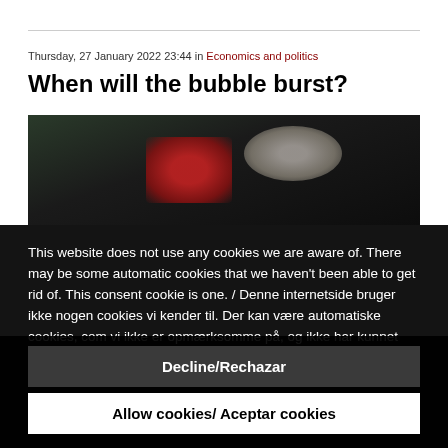Thursday, 27 January 2022 23:44 in Economics and politics
When will the bubble burst?
[Figure (photo): Dark outdoor photograph showing a red stop sign and figures in the background against dark foliage]
This website does not use any cookies we are aware of. There may be some automatic cookies that we haven't been able to get rid of. This consent cookie is one. / Denne internetside bruger ikke nogen cookies vi kender til. Der kan være automatiske cookies, com vi ikke er opmærksomme på, og ikke har kunnet deaktivere. Fx. denne "tillad cookies" cookie. / Esta página web no usa "cookies" hasta donde nosotros sabemos. Puede haber algunas "cookies" que no conocemos o que no hemos podido desactivar. Por
Decline/Rechazar
Allow cookies/ Aceptar cookies